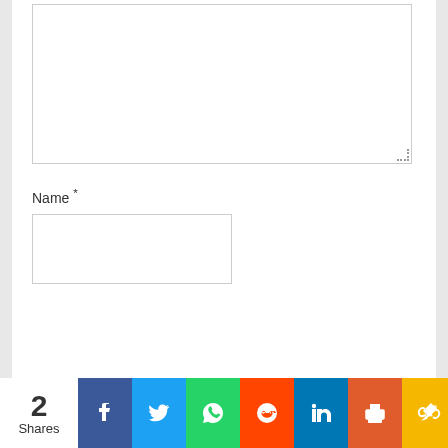[Figure (screenshot): Large empty text area input box with resize handle at bottom right]
Name *
[Figure (screenshot): Name input field text box, empty]
[Figure (infographic): Social share bar showing '2 Shares' with Facebook, Twitter, WhatsApp, Reddit, LinkedIn, Print, and Copy Link buttons]